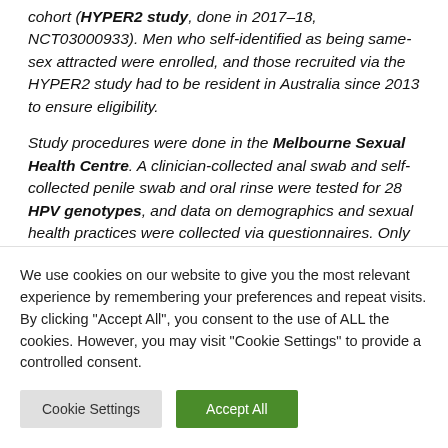cohort (HYPER2 study, done in 2017–18, NCT03000933). Men who self-identified as being same-sex attracted were enrolled, and those recruited via the HYPER2 study had to be resident in Australia since 2013 to ensure eligibility. Study procedures were done in the Melbourne Sexual Health Centre. A clinician-collected anal swab and self-collected penile swab and oral rinse were tested for 28 HPV genotypes, and data on demographics and sexual health practices were collected via questionnaires. Only
We use cookies on our website to give you the most relevant experience by remembering your preferences and repeat visits. By clicking "Accept All", you consent to the use of ALL the cookies. However, you may visit "Cookie Settings" to provide a controlled consent.